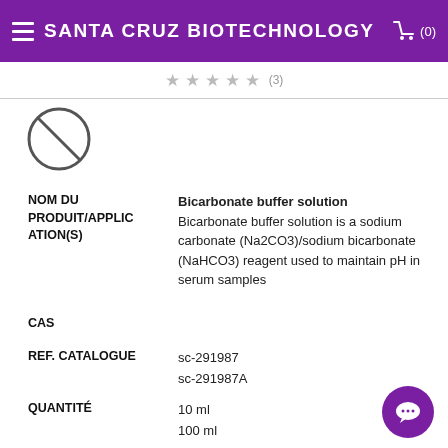SANTA CRUZ BIOTECHNOLOGY
[Figure (other): No image available icon - circle with diagonal line through it]
NOM DU PRODUIT/APPLICATION(S): Bicarbonate buffer solution. Bicarbonate buffer solution is a sodium carbonate (Na2CO3)/sodium bicarbonate (NaHCO3) reagent used to maintain pH in serum samples
CAS
REF. CATALOGUE: sc-291987, sc-291987A
QUANTITÉ: 10 ml, 100 ml